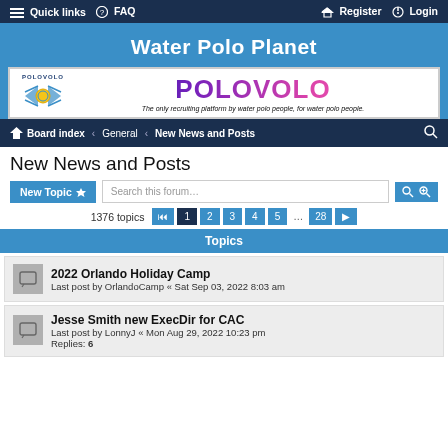Quick links  FAQ  Register  Login
Water Polo Planet
[Figure (logo): POLOVOLO logo banner: logo with wings and ball on left, large POLOVOLO text in gradient purple-pink, tagline: The only recruiting platform by water polo people, for water polo people.]
Board index › General › New News and Posts
New News and Posts
New Topic  Search this forum…  1376 topics  1 2 3 4 5 ... 28
Topics
2022 Orlando Holiday Camp
Last post by OrlandoCamp « Sat Sep 03, 2022 8:03 am
Jesse Smith new ExecDir for CAC
Last post by LonnyJ « Mon Aug 29, 2022 10:23 pm
Replies: 6